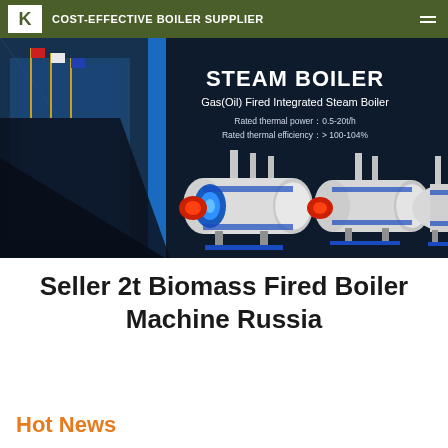COST-EFFECTIVE BOILER SUPPLIER
[Figure (photo): Banner image showing industrial steam boilers on dark navy background with text: STEAM BOILER, Gas(Oil) Fired Integrated Steam Boiler, Rated thermal power: 0.5-20t/h, Rated thermal efficiency: > 100-104%. Multiple white cylindrical boiler units with blue and red burner details are displayed.]
Seller 2t Biomass Fired Boiler Machine Russia
Hot News